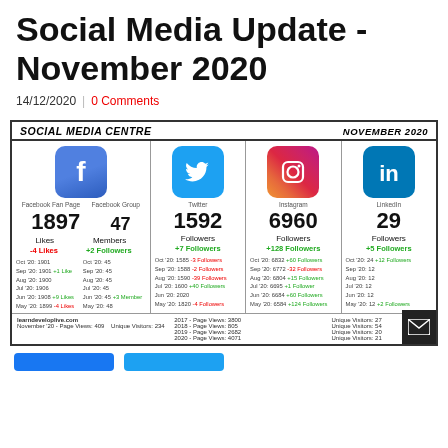Social Media Update - November 2020
14/12/2020 | 0 Comments
[Figure (infographic): Social Media Centre November 2020 infographic showing Facebook Fan Page (1897 Likes, -4 Likes), Facebook Group (47 Members, +2 Followers), Twitter (1592 Followers, +7 Followers), Instagram (6960 Followers, +128 Followers), LinkedIn (29 Followers, +5 Followers), with historical data and page view statistics.]